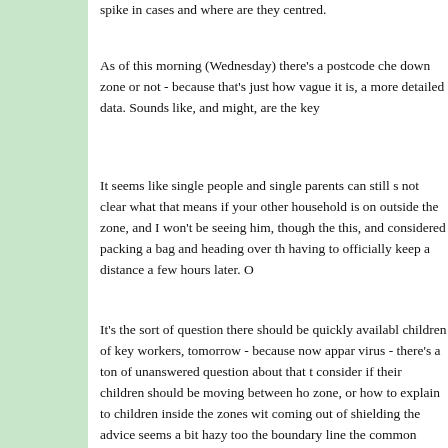spike in cases and where are they centred.
As of this morning (Wednesday) there's a postcode checker to find out if you're in a lock down zone or not - because that's just how vague it is, and it needs more detailed data. Sounds like, and might, are the key
It seems like single people and single parents can still st not clear what that means if your other household is on outside the zone, and I won't be seeing him, though the this, and considered packing a bag and heading over the having to officially keep a distance a few hours later. O
It's the sort of question there should be quickly available children of key workers, tomorrow - because now appar virus - there's a ton of unanswered question about that to consider if their children should be moving between hou zone, or how to explain to children inside the zones with coming out of shielding the advice seems a bit hazy too the boundary line the common sense thing is to carry on how your friends and family are affected, even if you've